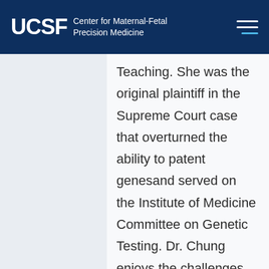UCSF Center for Maternal-Fetal Precision Medicine
Teaching. She was the original plaintiff in the Supreme Court case that overturned the ability to patent genesand served on the Institute of Medicine Committee on Genetic Testing. Dr. Chung enjoys the challenges of genetics as a rapidly changing field of medicine and...